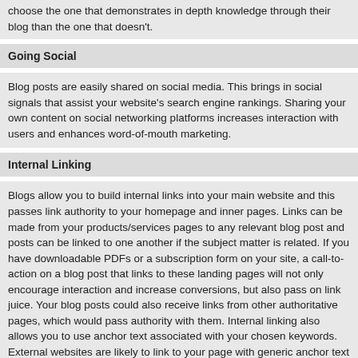choose the one that demonstrates in depth knowledge through their blog than the one that doesn't.
Going Social
Blog posts are easily shared on social media. This brings in social signals that assist your website's search engine rankings. Sharing your own content on social networking platforms increases interaction with users and enhances word-of-mouth marketing.
Internal Linking
Blogs allow you to build internal links into your main website and this passes link authority to your homepage and inner pages. Links can be made from your products/services pages to any relevant blog post and posts can be linked to one another if the subject matter is related. If you have downloadable PDFs or a subscription form on your site, a call-to-action on a blog post that links to these landing pages will not only encourage interaction and increase conversions, but also pass on link juice. Your blog posts could also receive links from other authoritative pages, which would pass authority with them. Internal linking also allows you to use anchor text associated with your chosen keywords. External websites are likely to link to your page with generic anchor text such as 'click here' or 'read more', but having internal anchor text that you control allows you to use targeted anchor text when linking your pages.
SEO and Images
It is important to SEO any images on your blog. This can be done by the use